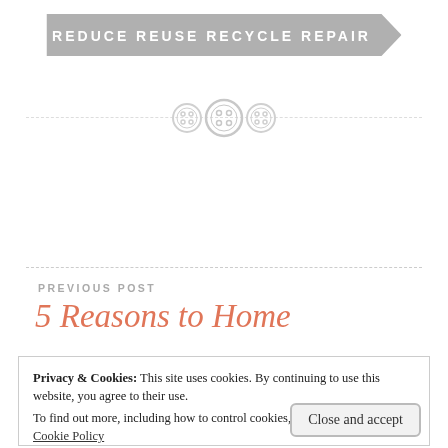REDUCE REUSE RECYCLE REPAIR
[Figure (illustration): Three decorative button icons arranged horizontally on a dashed divider line]
PREVIOUS POST
5 Reasons to Home
Privacy & Cookies: This site uses cookies. By continuing to use this website, you agree to their use.
To find out more, including how to control cookies, see here: Cookie Policy
Close and accept
Easy Entertaining with